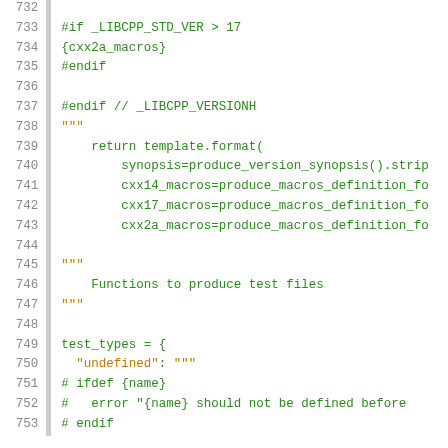732
733 #if _LIBCPP_STD_VER > 17
734 {cxx2a_macros}
735 #endif
736
737 #endif // _LIBCPP_VERSIONH
738 """
739     return template.format(
740         synopsis=produce_version_synopsis().strip
741         cxx14_macros=produce_macros_definition_fo
742         cxx17_macros=produce_macros_definition_fo
743         cxx2a_macros=produce_macros_definition_fo
744
745 """
746     Functions to produce test files
747 """
748
749 test_types = {
750   "undefined": """
751 # ifdef {name}
752 #   error "{name} should not be defined before
753 # endif